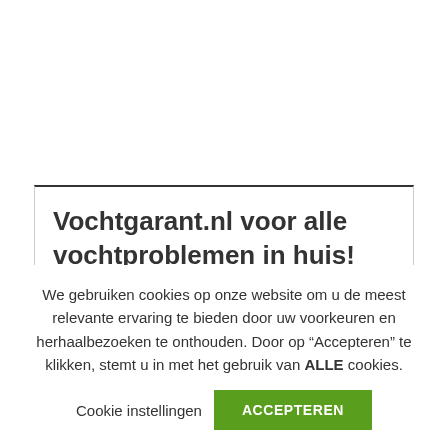Vochtgarant.nl voor alle vochtproblemen in huis!
We gebruiken cookies op onze website om u de meest relevante ervaring te bieden door uw voorkeuren en herhaalbezoeken te onthouden. Door op “Accepteren” te klikken, stemt u in met het gebruik van ALLE cookies.
Cookie instellingen   ACCEPTEREN